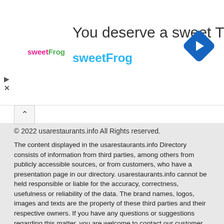[Figure (screenshot): Advertisement banner for sweetFrog frozen yogurt, showing the sweetFrog logo, text 'You deserve a sweet Treat', the brand name 'sweetFrog' in cyan, and a blue diamond navigation arrow icon on the right.]
© 2022 usarestaurants.info All Rights reserved.
The content displayed in the usarestaurants.info Directory consists of information from third parties, among others from publicly accessible sources, or from customers, who have a presentation page in our directory. usarestaurants.info cannot be held responsible or liable for the accuracy, correctness, usefulness or reliability of the data. The brand names, logos, images and texts are the property of these third parties and their respective owners. If you have any questions or suggestions regarding this matter, you are welcome to contact our customer support team.
usarestaurants.info is not a booking agent, and does not charge any service fees to users of our site.
usarestaurants.info is not responsible for content on external web sites. Taxes, fees not included for deals content.